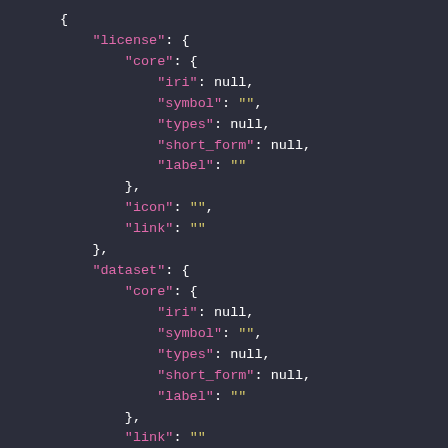JSON code snippet showing license and dataset objects with core sub-objects containing iri, symbol, types, short_form, and label fields